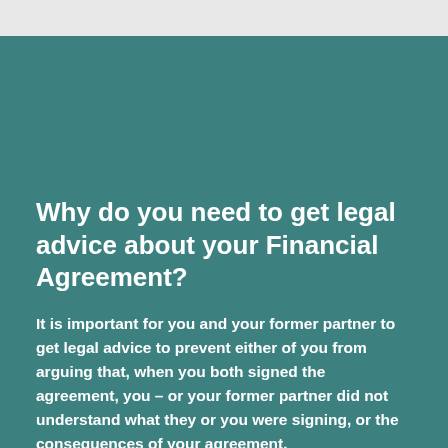Why do you need to get legal advice about your Financial Agreement?
It is important for you and your former partner to get legal advice to prevent either of you from arguing that, when you both signed the agreement, you – or your former partner did not understand what they or you were signing, or the consequences of your agreement.